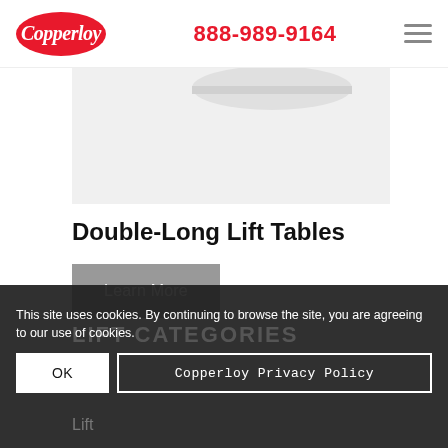Copperloy | 888-989-9164
[Figure (photo): Partial product image of a Double-Long Lift Table, showing the top platform area on a light gray background]
Double-Long Lift Tables
Learn More
LIFT CATEGORIES
Lift
This site uses cookies. By continuing to browse the site, you are agreeing to our use of cookies.
OK
Copperloy Privacy Policy